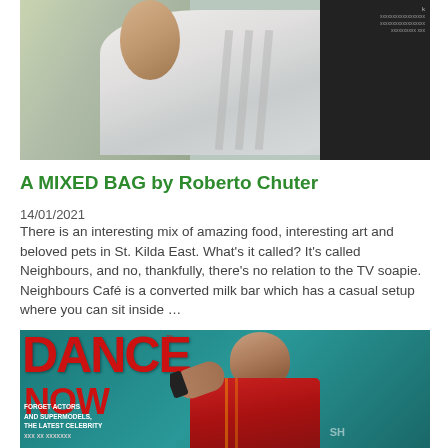[Figure (photo): Photo of a person lying down wearing a white striped garment, with a dark background on the right side showing another person in a black t-shirt]
A MIXED BAG by Roberto Chuter
14/01/2021
There is an interesting mix of amazing food, interesting art and beloved pets in St. Kilda East. What’s it called? It’s called Neighbours, and no, thankfully, there’s no relation to the TV soapie. Neighbours Café is a converted milk bar which has a casual setup where you can sit inside …
[Figure (photo): Cover of DANCE NOW magazine with a stylized image of a man in a red Manchester United football shirt against a teal background, with text reading FORGET ACTORS AND SUPERMODELS, THE LATEST CELEBRITY...]